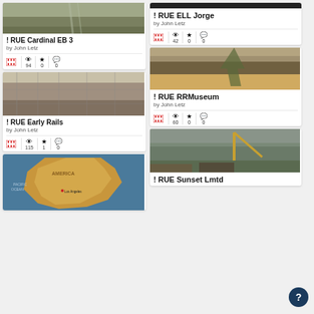[Figure (photo): Road/landscape photo - Cardinal EB 3]
! RUE Cardinal EB 3
by John Letz
[Figure (photo): Dark top strip for RUE ELL Jorge card]
! RUE ELL Jorge
by John Letz
[Figure (photo): Industrial/historical rails photo - Early Rails]
! RUE Early Rails
by John Letz
[Figure (photo): Nature/landscape photo - RRMuseum]
! RUE RRMuseum
by John Letz
[Figure (map): Map of America/Los Angeles region]
[Figure (photo): Construction/crane photo - Sunset Lmtd]
! RUE Sunset Lmtd